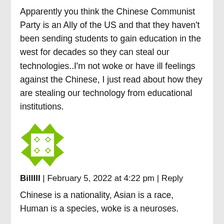Apparently you think the Chinese Communist Party is an Ally of the US and that they haven't been sending students to gain education in the west for decades so they can steal our technologies..I'm not woke or have ill feelings against the Chinese, I just read about how they are stealing our technology from educational institutions.
[Figure (illustration): Green geometric avatar icon with diamond/arrow pattern]
BillIII | February 5, 2022 at 4:22 pm | Reply
Chinese is a nationality, Asian is a race, Human is a species, woke is a neuroses.
[Figure (illustration): Teal/cyan geometric avatar icon, partially visible at bottom]